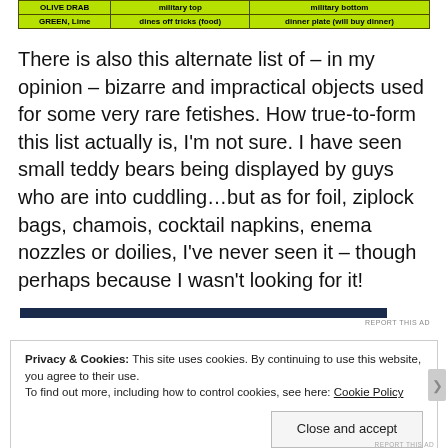| OLIVE DRAB | military top | military bottom |
| --- | --- | --- |
| GREEN, Lime | dines off tricks (food) | dinner plate (will buy dinner) |
There is also this alternate list of – in my opinion – bizarre and impractical objects used for some very rare fetishes. How true-to-form this list actually is, I'm not sure. I have seen small teddy bears being displayed by guys who are into cuddling…but as for foil, ziplock bags, chamois, cocktail napkins, enema nozzles or doilies, I've never seen it – though perhaps because I wasn't looking for it!
[Figure (other): Advertisement bar (dark navy horizontal bar) with 'REPORT THIS AD' text below]
Privacy & Cookies: This site uses cookies. By continuing to use this website, you agree to their use. To find out more, including how to control cookies, see here: Cookie Policy
Close and accept